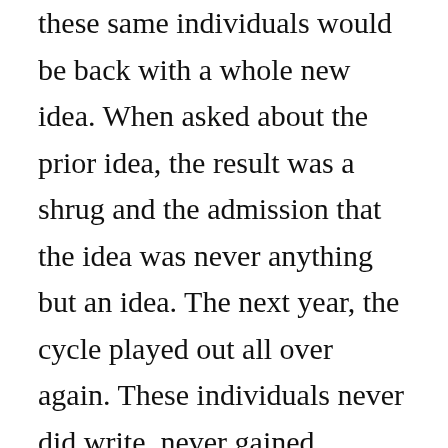these same individuals would be back with a whole new idea. When asked about the prior idea, the result was a shrug and the admission that the idea was never anything but an idea. The next year, the cycle played out all over again. These individuals never did write, never gained experience, never worked at the craft and never had the satisfaction of finishing, much less publishing, a project. Living in the future robs a person of living in the present.
Others who dream, recognize a dream is